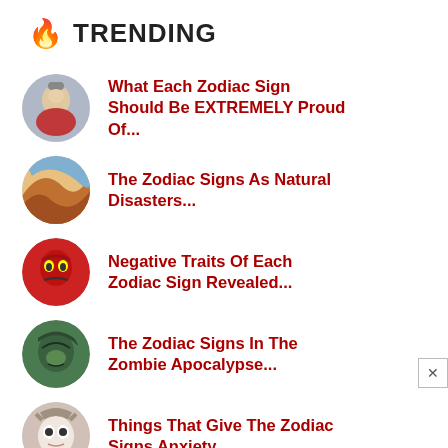🔥 TRENDING
What Each Zodiac Sign Should Be EXTREMELY Proud Of...
The Zodiac Signs As Natural Disasters...
Negative Traits Of Each Zodiac Sign Revealed...
The Zodiac Signs In The Zombie Apocalypse...
Things That Give The Zodiac Signs Anxiety...
How The Signs Respond To Compliments...
When The Zodiac Signs Get Sad...